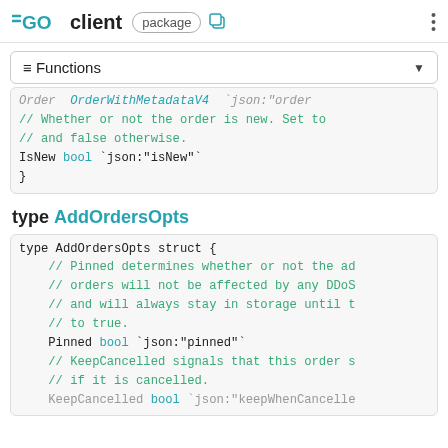GO client package
≡ Functions
Order  OrderWithMetadataV4  `json:"order"
// Whether or not the order is new. Set to
// and false otherwise.
IsNew bool `json:"isNew"`
}
type AddOrdersOpts
type AddOrdersOpts struct {
// Pinned determines whether or not the ad
// orders will not be affected by any DDoS
// and will always stay in storage until t
// to true.
Pinned bool `json:"pinned"`
// KeepCancelled signals that this order s
// if it is cancelled.
KeepCancelled bool `json:"keepWhenCancelle